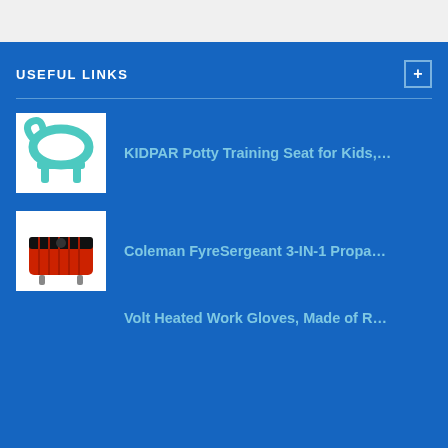USEFUL LINKS
KIDPAR Potty Training Seat for Kids,...
Coleman FyreSergeant 3-IN-1 Propa...
Volt Heated Work Gloves, Made of R...